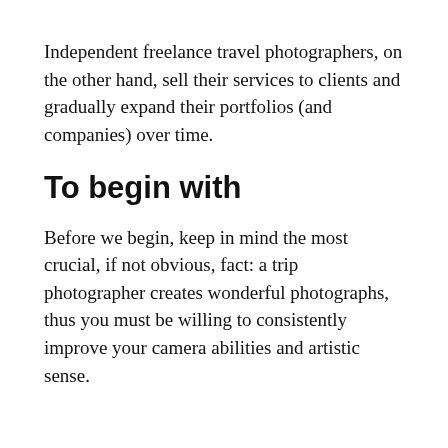Independent freelance travel photographers, on the other hand, sell their services to clients and gradually expand their portfolios (and companies) over time.
To begin with
Before we begin, keep in mind the most crucial, if not obvious, fact: a trip photographer creates wonderful photographs, thus you must be willing to consistently improve your camera abilities and artistic sense.